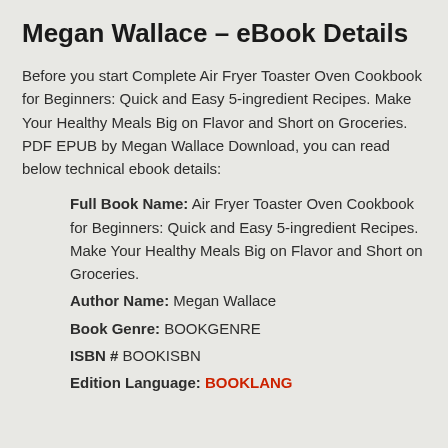Megan Wallace – eBook Details
Before you start Complete Air Fryer Toaster Oven Cookbook for Beginners: Quick and Easy 5-ingredient Recipes. Make Your Healthy Meals Big on Flavor and Short on Groceries. PDF EPUB by Megan Wallace Download, you can read below technical ebook details:
Full Book Name: Air Fryer Toaster Oven Cookbook for Beginners: Quick and Easy 5-ingredient Recipes. Make Your Healthy Meals Big on Flavor and Short on Groceries.
Author Name: Megan Wallace
Book Genre: BOOKGENRE
ISBN # BOOKISBN
Edition Language: BOOKLANG